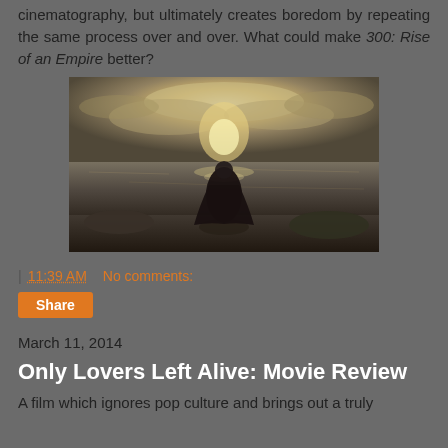cinematography, but ultimately creates boredom by repeating the same process over and over. What could make 300: Rise of an Empire better?
[Figure (photo): A figure in a dark flowing dress stands on rocky shoreline with back to viewer, looking out over a dramatic seascape with sunlight breaking through stormy clouds, rendered in desaturated sepia tones.]
| 11:39 AM   No comments:
Share
March 11, 2014
Only Lovers Left Alive: Movie Review
A film which ignores pop culture and brings out a truly